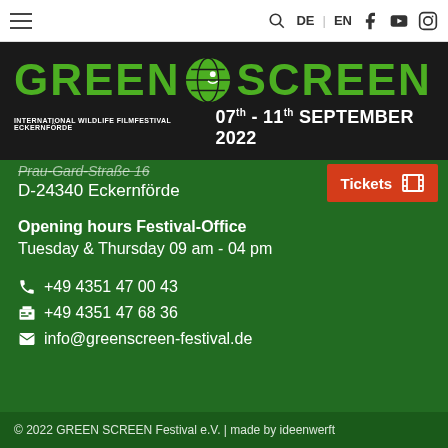GREEN SCREEN - INTERNATIONAL WILDLIFE FILMFESTIVAL ECKERNFÖRDE 07th - 11th SEPTEMBER 2022
D-24340 Eckernförde
Tickets
Opening hours Festival-Office
Tuesday & Thursday 09 am - 04 pm
+49 4351 47 00 43
+49 4351 47 68 36
info@greenscreen-festival.de
© 2022 GREEN SCREEN Festival e.V. | made by ideenwerft